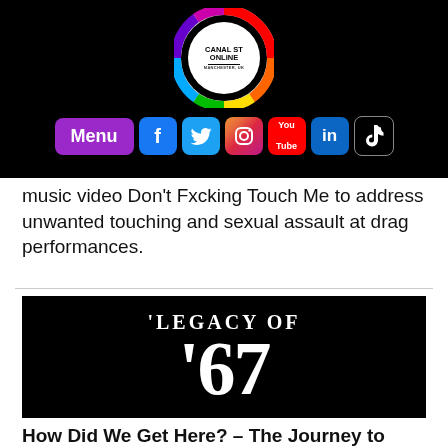[Figure (logo): Canal St Online Manchester UK logo — circular rainbow ring with white center containing the text CANAL ST ONLINE MANCHESTER, UK]
[Figure (infographic): Navigation bar with purple Menu button and social media icons: Facebook, Twitter, Instagram, YouTube, LinkedIn, TikTok]
music video Don't Fxcking Touch Me to address unwanted touching and sexual assault at drag performances.
[Figure (other): Black background image with white bold serif text reading 'LEGACY OF '67']
How Did We Get Here? – The Journey to